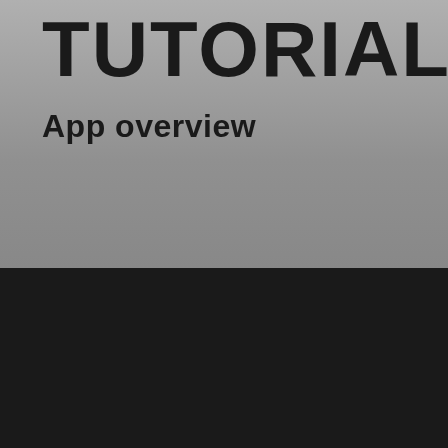TUTORIAL
App overview
We use cookies to ensure that we give you the best experience on our website. If you continue to use this site we will assume that you are happy with it. By clicking "Accept All", you consent to the use of ALL the cookies. However, you may visit "Cookie Settings" to provide a controlled consent.
Accept All
Read More
Cookie Settings